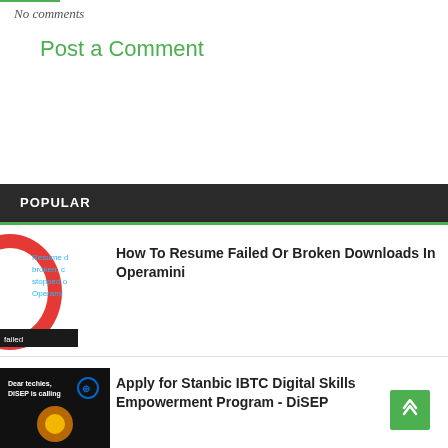No comments
Post a Comment
POPULAR
How To Resume Failed Or Broken Downloads In Operamini
Apply for Stanbic IBTC Digital Skills Empowerment Program - DiSEP
Infinix Mobility Limited Recruiting 'Alpha Testers'